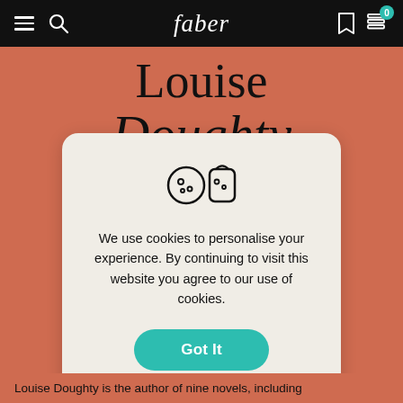faber
Louise Doughty
[Figure (illustration): Cookie icon showing two cookies and a cookie with a bite taken out]
We use cookies to personalise your experience. By continuing to visit this website you agree to our use of cookies.
Got It
Read Our Cookie Policy
Louise Doughty is the author of nine novels, including